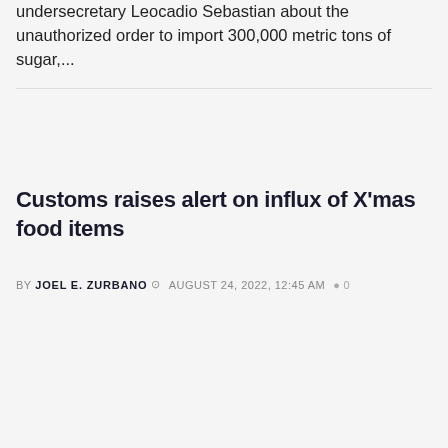undersecretary Leocadio Sebastian about the unauthorized order to import 300,000 metric tons of sugar,...
Customs raises alert on influx of X'mas food items
BY JOEL E. ZURBANO  AUGUST 24, 2022, 12:45 AM  0